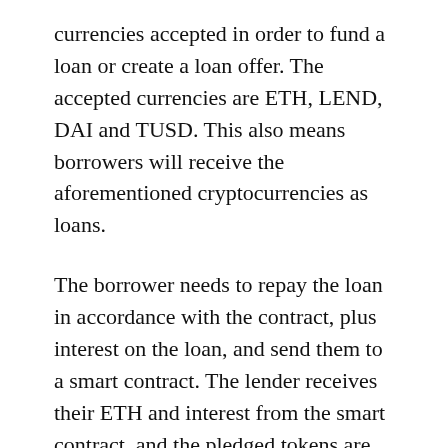currencies accepted in order to fund a loan or create a loan offer. The accepted currencies are ETH, LEND, DAI and TUSD. This also means borrowers will receive the aforementioned cryptocurrencies as loans.
The borrower needs to repay the loan in accordance with the contract, plus interest on the loan, and send them to a smart contract. The lender receives their ETH and interest from the smart contract, and the pledged tokens are unlocked and sent back to the borrower. In the event that the borrower cannot repay the loan, the lender will get the payments plus a liquidation fee from the collateral.